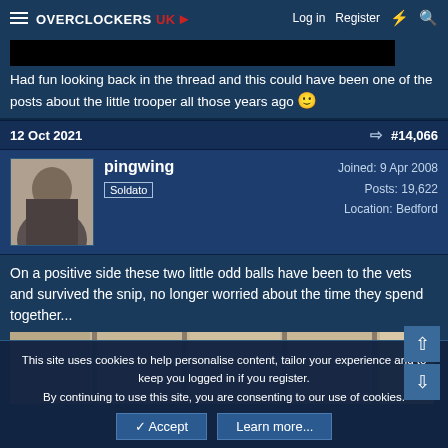Overclockers UK — Log in | Register
[Figure (screenshot): Black bar (redacted/blurred image content from previous post)]
Had fun looking back in the thread and this could have been one of the posts about the little trooper all those years ago 🙂
12 Oct 2021   #14,066
pingwing
Soldato
Joined: 9 Apr 2008
Posts: 19,622
Location: Bedford
On a positive side these two little odd balls have been to the vets and survived the snip, no longer worried about the time they spend together...
[Figure (photo): Partial photo of wooden boards/surfaces]
This site uses cookies to help personalise content, tailor your experience and to keep you logged in if you register.
By continuing to use this site, you are consenting to our use of cookies.